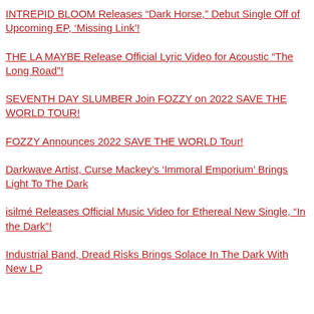INTREPID BLOOM Releases “Dark Horse,” Debut Single Off of Upcoming EP, ‘Missing Link’!
THE LA MAYBE Release Official Lyric Video for Acoustic “The Long Road”!
SEVENTH DAY SLUMBER Join FOZZY on 2022 SAVE THE WORLD TOUR!
FOZZY Announces 2022 SAVE THE WORLD Tour!
Darkwave Artist, Curse Mackey’s ‘Immoral Emporium’ Brings Light To The Dark
isilmé Releases Official Music Video for Ethereal New Single, “In the Dark”!
Industrial Band, Dread Risks Brings Solace In The Dark With New LP